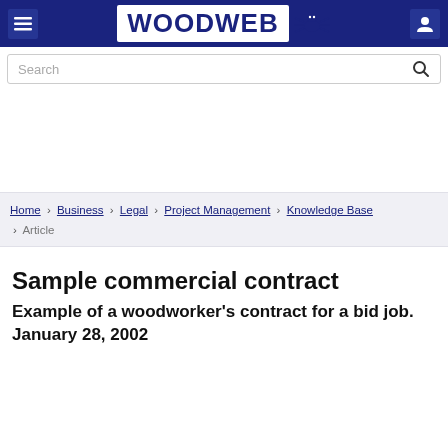WOODWEB
Search
Home › Business › Legal › Project Management › Knowledge Base › Article
Sample commercial contract
Example of a woodworker's contract for a bid job. January 28, 2002